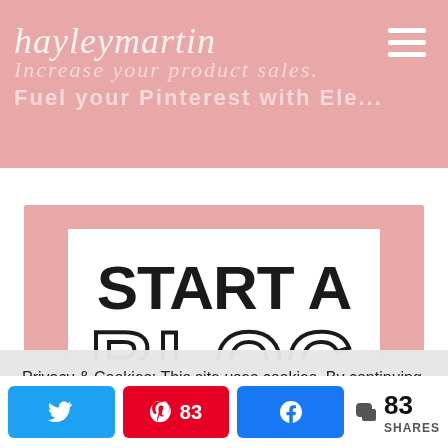Increase your product sales. Fuel your Pinterest with Ele... | hayleymatin
[Figure (illustration): Promotional graphic with pink background and white inner box showing bold text 'START A BLOG' in large black and pink letters]
Privacy & Cookies: This site uses cookies. By continuing to use this website, you agree to their use.
To find out more, including how to control cookies, see here:
N  |  83  |  f  |  < 83 SHARES